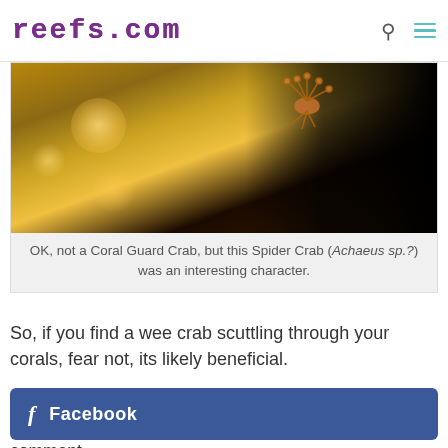reefs.com
[Figure (photo): Close-up macro photo of a Spider Crab (Achaeus sp.?) on coral, with warm golden bokeh background and dark right side]
OK, not a Coral Guard Crab, but this Spider Crab (Achaeus sp.?) was an interesting character.
So, if you find a wee crab scuttling through your corals, fear not, its likely beneficial.
P.S.  I'd love to know the species names of the critters featured here.  Please feel free to leave me a comment.